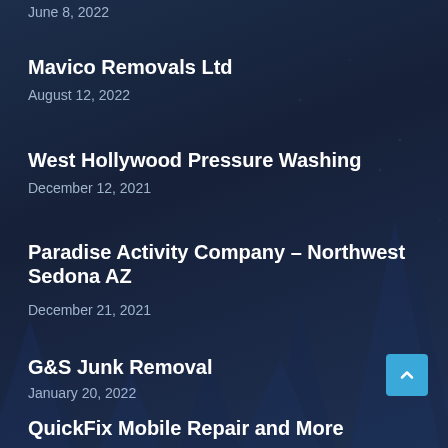June 8, 2022
Mavico Removals Ltd
August 12, 2022
West Hollywood Pressure Washing
December 12, 2021
Paradise Activity Company – Northwest Sedona AZ
December 21, 2021
G&S Junk Removal
January 20, 2022
QuickFix Mobile Repair and More